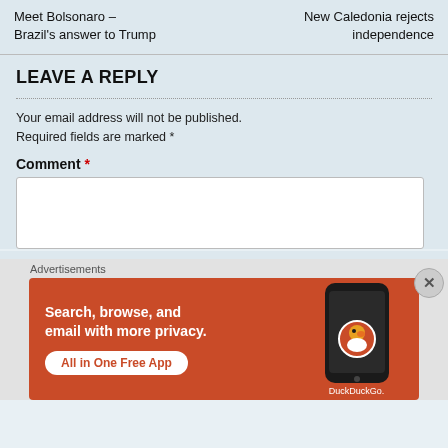Meet Bolsonaro – Brazil's answer to Trump
New Caledonia rejects independence
LEAVE A REPLY
Your email address will not be published. Required fields are marked *
Comment *
[Figure (screenshot): Comment text input box (empty)]
Advertisements
[Figure (screenshot): DuckDuckGo advertisement banner: orange background with text 'Search, browse, and email with more privacy. All in One Free App' and phone graphic with DuckDuckGo logo]